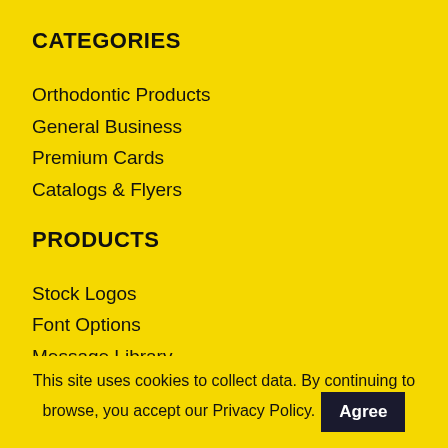CATEGORIES
Orthodontic Products
General Business
Premium Cards
Catalogs & Flyers
PRODUCTS
Stock Logos
Font Options
Message Library
Quick Order
Site Map
This site uses cookies to collect data. By continuing to browse, you accept our Privacy Policy.  Agree